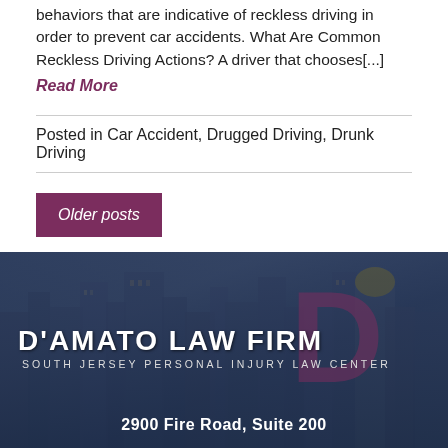behaviors that are indicative of reckless driving in order to prevent car accidents. What Are Common Reckless Driving Actions? A driver that chooses[...]
Read More
Posted in Car Accident, Drugged Driving, Drunk Driving
Older posts
[Figure (photo): City skyline background with D'Amato Law Firm logo overlay. Text reads: D'AMATO LAW FIRM, SOUTH JERSEY PERSONAL INJURY LAW CENTER, 2900 Fire Road, Suite 200]